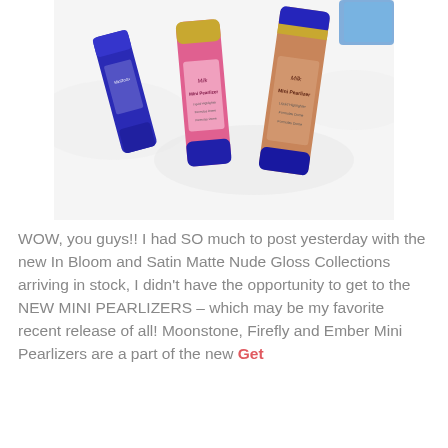[Figure (photo): Three cosmetic product bottles (Mini Pearlizers) arranged on a white furry surface. One pink bottle in the center, one bronze/tan bottle on the right, and one blue bottle on the left. Products appear to be from the 'Milk' brand with blue caps and gold accents.]
WOW, you guys!! I had SO much to post yesterday with the new In Bloom and Satin Matte Nude Gloss Collections arriving in stock, I didn't have the opportunity to get to the NEW MINI PEARLIZERS – which may be my favorite recent release of all! Moonstone, Firefly and Ember Mini Pearlizers are a part of the new Get